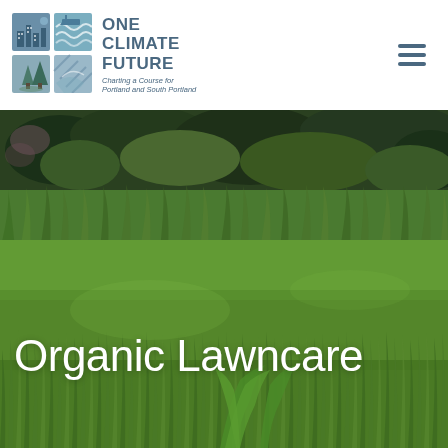[Figure (logo): One Climate Future logo: a 2x2 grid of icons (buildings, water/waves, trees/landscape, wind/water patterns) in blue-gray tones, next to text 'ONE CLIMATE FUTURE' in bold blue-gray uppercase, with tagline 'Charting a Course for Portland and South Portland' in italic below]
[Figure (photo): Close-up photograph of a green lawn/grass field with lush green blades in foreground, taller wild plants and trees in the background. Vibrant green tones throughout. A broad-leafed weed is visible among the grass blades in the lower center.]
Organic Lawncare